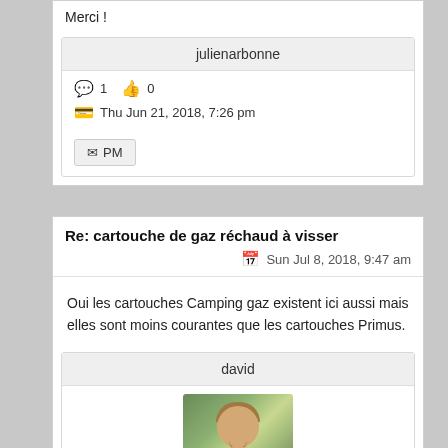Merci !
julienarbonne
1  0
Thu Jun 21, 2018, 7:26 pm
PM
Re: cartouche de gaz réchaud à visser
Sun Jul 8, 2018, 9:47 am
Oui les cartouches Camping gaz existent ici aussi mais elles sont moins courantes que les cartouches Primus.
david
[Figure (photo): Profile photo of user david, a smiling man with short hair against a green outdoor background]